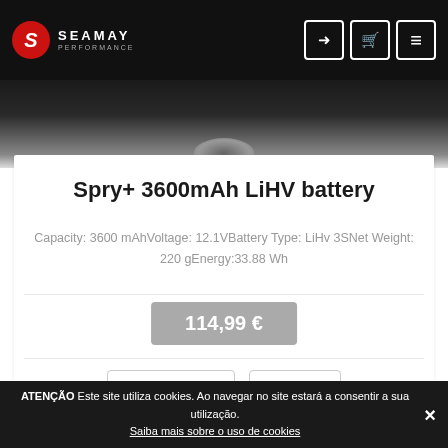Seamay Performance — navigation bar
[Figure (screenshot): Product photo area showing dark background with partial drone/product image visible at top]
Spry+ 3600mAh LiHV battery
Capacity: 3600 mAhVoltage: 12.1VBattery Type: LiHv 3SNet Weight: 220 gEnergy:33.88 Wh
114,99 €
COMPRAR
INFO
ATENÇÃO Este site utiliza cookies. Ao navegar no site estará a consentir a sua utilização. Saiba mais sobre o uso de cookies